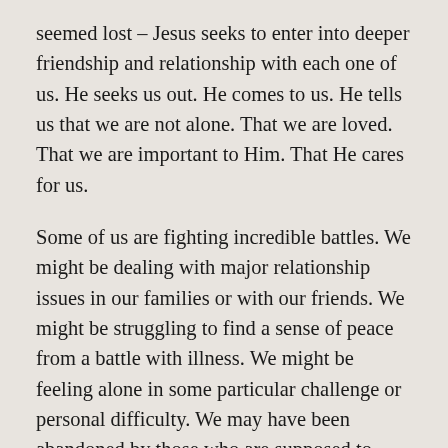seemed lost – Jesus seeks to enter into deeper friendship and relationship with each one of us. He seeks us out. He comes to us. He tells us that we are not alone. That we are loved. That we are important to Him. That He cares for us.
Some of us are fighting incredible battles. We might be dealing with major relationship issues in our families or with our friends. We might be struggling to find a sense of peace from a battle with illness. We might be feeling alone in some particular challenge or personal difficulty. We may have been abandoned by those who are supposed to love us the most. We might feel unsuccessful because we can't secure employment or we can't support our family.